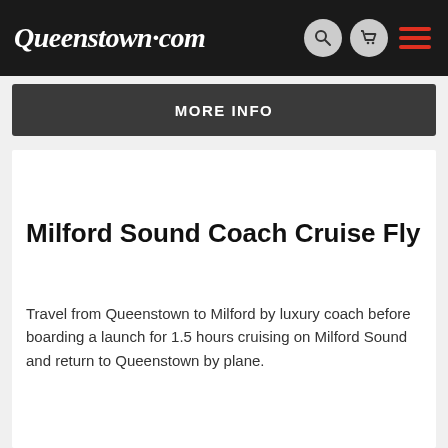Queenstown.com
MORE INFO
Milford Sound Coach Cruise Fly
Travel from Queenstown to Milford by luxury coach before boarding a launch for 1.5 hours cruising on Milford Sound and return to Queenstown by plane.